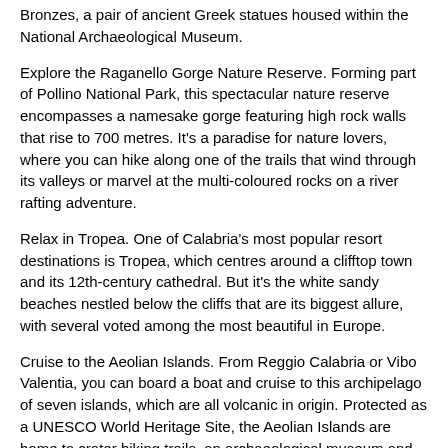Bronzes, a pair of ancient Greek statues housed within the National Archaeological Museum.
Explore the Raganello Gorge Nature Reserve. Forming part of Pollino National Park, this spectacular nature reserve encompasses a namesake gorge featuring high rock walls that rise to 700 metres. It's a paradise for nature lovers, where you can hike along one of the trails that wind through its valleys or marvel at the multi-coloured rocks on a river rafting adventure.
Relax in Tropea. One of Calabria's most popular resort destinations is Tropea, which centres around a clifftop town and its 12th-century cathedral. But it's the white sandy beaches nestled below the cliffs that are its biggest allure, with several voted among the most beautiful in Europe.
Cruise to the Aeolian Islands. From Reggio Calabria or Vibo Valentia, you can board a boat and cruise to this archipelago of seven islands, which are all volcanic in origin. Protected as a UNESCO World Heritage Site, the Aeolian Islands are home to crater hiking trails, an archaeological museum and open-air sulphurous baths.
Getting around Calabria